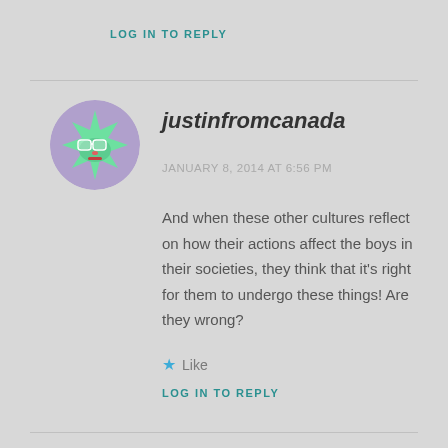LOG IN TO REPLY
[Figure (illustration): Circular avatar with a cartoon star-shaped green alien character wearing glasses on a purple background]
justinfromcanada
JANUARY 8, 2014 AT 6:56 PM
And when these other cultures reflect on how their actions affect the boys in their societies, they think that it's right for them to undergo these things! Are they wrong?
Like
LOG IN TO REPLY